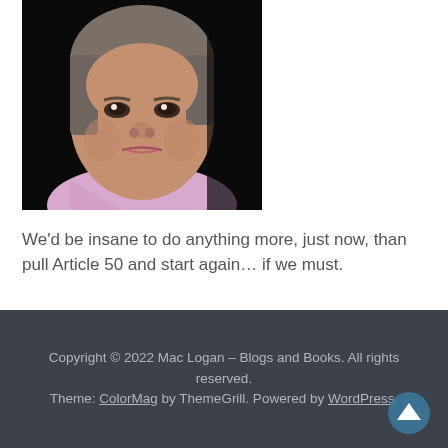[Figure (photo): Close-up photo of a woman with a serious/stern expression, grey-brown hair, wearing a light pink/lavender top, against a dark background]
We'd be insane to do anything more, just now, than pull Article 50 and start again... if we must.
Copyright © 2022 Mac Logan – Blogs and Books. All rights reserved.
Theme: ColorMag by ThemeGrill. Powered by WordPress.